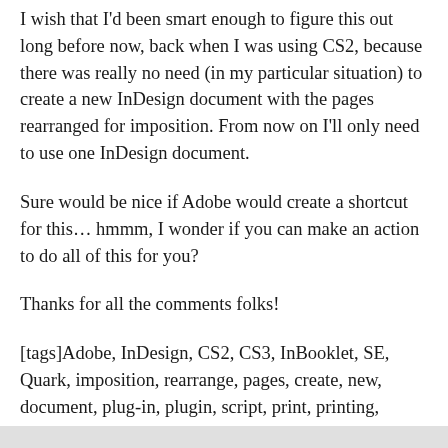I wish that I'd been smart enough to figure this out long before now, back when I was using CS2, because there was really no need (in my particular situation) to create a new InDesign document with the pages rearranged for imposition. From now on I'll only need to use one InDesign document.
Sure would be nice if Adobe would create a shortcut for this… hmmm, I wonder if you can make an action to do all of this for you?
Thanks for all the comments folks!
[tags]Adobe, InDesign, CS2, CS3, InBooklet, SE, Quark, imposition, rearrange, pages, create, new, document, plug-in, plugin, script, print, printing, solution, workaround[/tags]